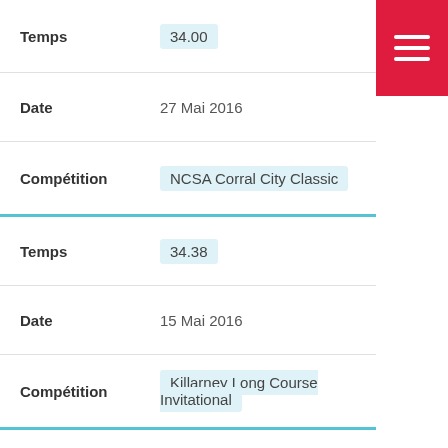| Label | Value |
| --- | --- |
| Temps | 34.00 |
| Date | 27 Mai 2016 |
| Compétition | NCSA Corral City Classic |
| Temps | 34.38 |
| Date | 15 Mai 2016 |
| Compétition | Killarney Long Course Invitational |
| Temps | 34.87 |
| Date | 1 Juil 2016 |
| Compétition | Speedo Age Group and Senior |